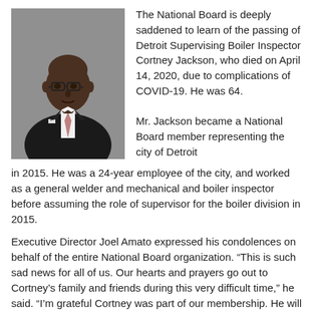[Figure (photo): Portrait photo of Cortney Jackson, a bald African-American man wearing glasses, a dark suit jacket, white dress shirt, and a patterned tie, photographed against a gray background.]
The National Board is deeply saddened to learn of the passing of Detroit Supervising Boiler Inspector Cortney Jackson, who died on April 14, 2020, due to complications of COVID-19. He was 64.
Mr. Jackson became a National Board member representing the city of Detroit in 2015. He was a 24-year employee of the city, and worked as a general welder and mechanical and boiler inspector before assuming the role of supervisor for the boiler division in 2015.
Executive Director Joel Amato expressed his condolences on behalf of the entire National Board organization. “This is such sad news for all of us. Our hearts and prayers go out to Cortney’s family and friends during this very difficult time,” he said. “I’m grateful Cortney was part of our membership. He will be missed.”
In the Detroit News, Detroit Mayor Mike Duggan said of Jackson: